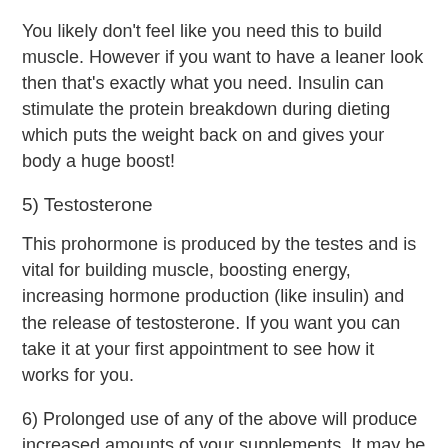You likely don't feel like you need this to build muscle. However if you want to have a leaner look then that's exactly what you need. Insulin can stimulate the protein breakdown during dieting which puts the weight back on and gives your body a huge boost!
5) Testosterone
This prohormone is produced by the testes and is vital for building muscle, boosting energy, increasing hormone production (like insulin) and the release of testosterone. If you want you can take it at your first appointment to see how it works for you.
6) Prolonged use of any of the above will produce increased amounts of your supplements. It may be a good idea to